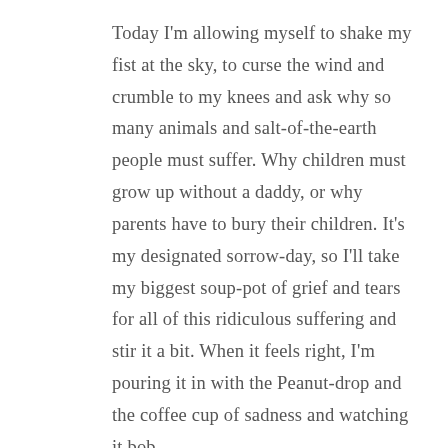Today I'm allowing myself to shake my fist at the sky, to curse the wind and crumble to my knees and ask why so many animals and salt-of-the-earth people must suffer. Why children must grow up without a daddy, or why parents have to bury their children. It's my designated sorrow-day, so I'll take my biggest soup-pot of grief and tears for all of this ridiculous suffering and stir it a bit. When it feels right, I'm pouring it in with the Peanut-drop and the coffee cup of sadness and watching it bob